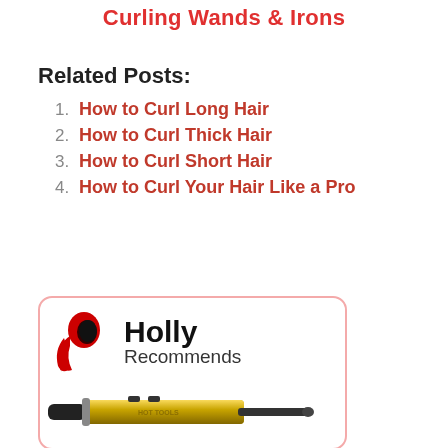Curling Wands & Irons
Related Posts:
How to Curl Long Hair
How to Curl Thick Hair
How to Curl Short Hair
How to Curl Your Hair Like a Pro
[Figure (logo): Holly Recommends logo with red hair silhouette and a gold curling iron below]